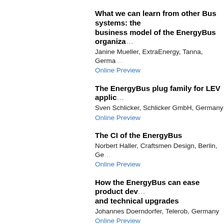What we can learn from other Bus systems: the business model of the EnergyBus organization
Janine Mueller, ExtraEnergy, Tanna, Germany
Online Preview
The EnergyBus plug family for LEV applications
Sven Schlicker, Schlicker GmbH, Germany
Online Preview
The CI of the EnergyBus
Norbert Haller, Craftsmen Design, Berlin, Germany
Online Preview
How the EnergyBus can ease product development and technical upgrades
Johannes Doerndorfer, Telerob, Germany
Online Preview
Re-creation of a motorized bicycle
Hendrik Markowski, University of Technology and Design, Germany
Online Preview
The EnergyBus and the Taiwan LEV industry potential
Bing-Ming Lin and Yuh-Fwu Chou, ITRI, Taiwan
Online Preview
Marketing for the EnergyBus organization